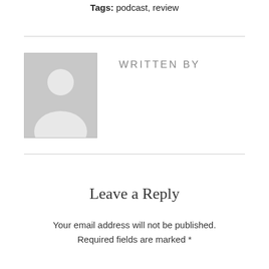Tags: podcast, review
WRITTEN BY
[Figure (photo): Default user avatar placeholder — grey background with white silhouette of a person]
Leave a Reply
Your email address will not be published. Required fields are marked *